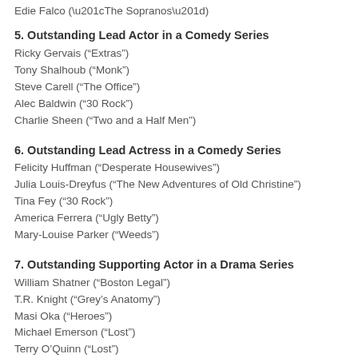Edie Falco (“The Sopranos”)
5. Outstanding Lead Actor in a Comedy Series
Ricky Gervais (“Extras”)
Tony Shalhoub (“Monk”)
Steve Carell (“The Office”)
Alec Baldwin (“30 Rock”)
Charlie Sheen (“Two and a Half Men”)
6. Outstanding Lead Actress in a Comedy Series
Felicity Huffman (“Desperate Housewives”)
Julia Louis-Dreyfus (“The New Adventures of Old Christine”)
Tina Fey (“30 Rock”)
America Ferrera (“Ugly Betty”)
Mary-Louise Parker (“Weeds”)
7. Outstanding Supporting Actor in a Drama Series
William Shatner (“Boston Legal”)
T.R. Knight (“Grey’s Anatomy”)
Masi Oka (“Heroes”)
Michael Emerson (“Lost”)
Terry O’Quinn (“Lost”)